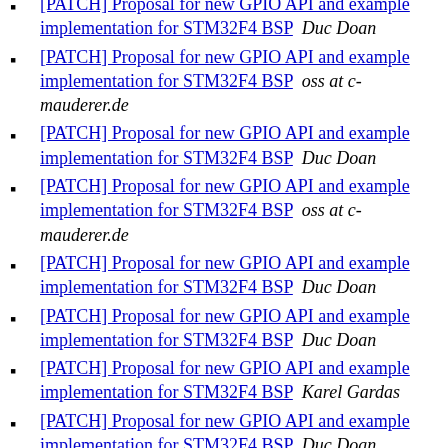[PATCH] Proposal for new GPIO API and example implementation for STM32F4 BSP  Duc Doan
[PATCH] Proposal for new GPIO API and example implementation for STM32F4 BSP  oss at c-mauderer.de
[PATCH] Proposal for new GPIO API and example implementation for STM32F4 BSP  Duc Doan
[PATCH] Proposal for new GPIO API and example implementation for STM32F4 BSP  oss at c-mauderer.de
[PATCH] Proposal for new GPIO API and example implementation for STM32F4 BSP  Duc Doan
[PATCH] Proposal for new GPIO API and example implementation for STM32F4 BSP  Duc Doan
[PATCH] Proposal for new GPIO API and example implementation for STM32F4 BSP  Karel Gardas
[PATCH] Proposal for new GPIO API and example implementation for STM32F4 BSP  Duc Doan
[PATCH] Proposal for new GPIO API and example implementation for STM32F4 BSP